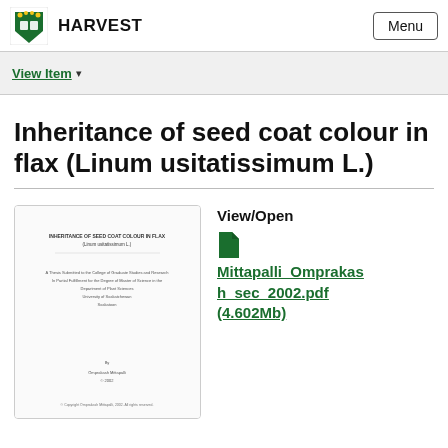HARVEST  Menu
View Item
Inheritance of seed coat colour in flax (Linum usitatissimum L.)
[Figure (screenshot): Thumbnail preview of the thesis document cover page showing title and author details]
View/Open
Mittapalli_Omprakash_sec_2002.pdf (4.602Mb)